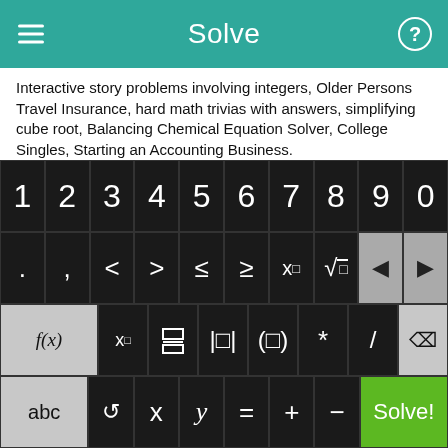Solve
Interactive story problems involving integers, Older Persons Travel Insurance, hard math trivias with answers, simplifying cube root, Balancing Chemical Equation Solver, College Singles, Starting an Accounting Business.
Program to solve algerbra problems, example of linear equations in two unknowns age problem, free fourth grade worksheets.
FRACTION TRIG CALCULATOR, calculate probability on ti-83 calculator, Ninth grade Geometry help, learning basic algebra,
[Figure (screenshot): On-screen math keyboard with 4 rows: Row 1: digits 1-9 and 0. Row 2: period, comma, less-than, greater-than, less-than-or-equal, greater-than-or-equal, x-squared, square-root, backspace-left, backspace-right. Row 3: f(x), x-subscript, fraction, absolute-value, parentheses, multiply, divide, delete. Row 4: abc, undo, x, y, equals, plus, minus, Solve! (green).]